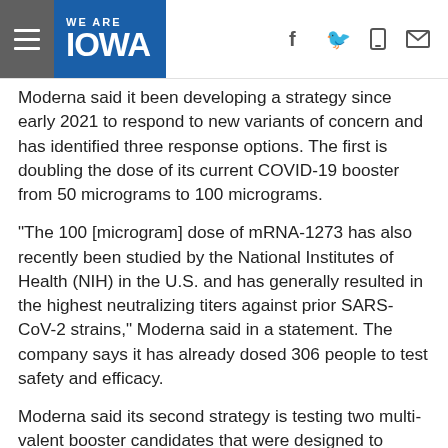WE ARE IOWA
Moderna said it been developing a strategy since early 2021 to respond to new variants of concern and has identified three response options. The first is doubling the dose of its current COVID-19 booster from 50 micrograms to 100 micrograms.
"The 100 [microgram] dose of mRNA-1273 has also recently been studied by the National Institutes of Health (NIH) in the U.S. and has generally resulted in the highest neutralizing titers against prior SARS-CoV-2 strains," Moderna said in a statement. The company says it has already dosed 306 people to test safety and efficacy.
Moderna said its second strategy is testing two multi-valent booster candidates that were designed to anticipate mutations like those found in the omicron variant.
The third strategy, according to Moderna, is to quickly develop an omicron-specific booster. The company said it has already been working on this for other variants